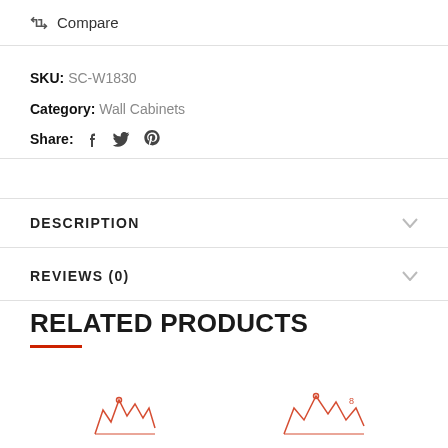Compare
SKU: SC-W1830
Category: Wall Cabinets
Share:
DESCRIPTION
REVIEWS (0)
RELATED PRODUCTS
[Figure (illustration): Partial product preview images at the bottom of the page]